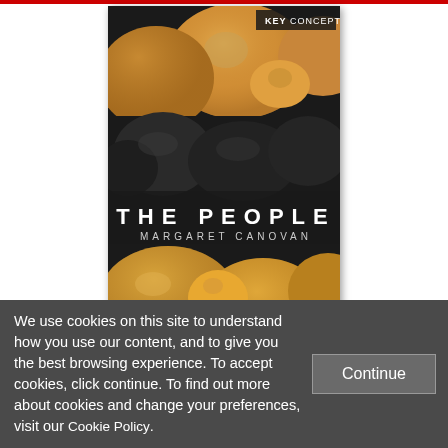[Figure (illustration): Book cover of 'The People' by Margaret Canovan, part of the Key Concepts series. Cover features close-up photograph of mushroom caps in golden-brown tones on a dark background. Title 'THE PEOPLE' in spaced white letters with author name 'MARGARET CANOVAN' below. 'KEY CONCEPTS' label in top right corner.]
We use cookies on this site to understand how you use our content, and to give you the best browsing experience. To accept cookies, click continue. To find out more about cookies and change your preferences, visit our Cookie Policy.